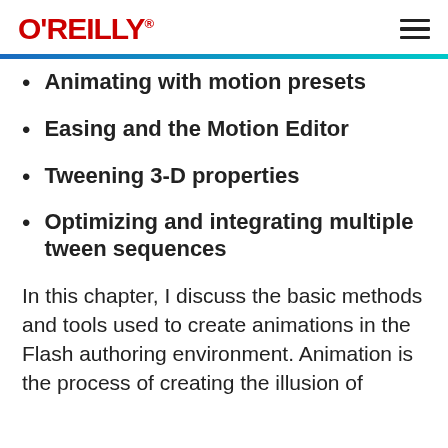O'REILLY
Animating with motion presets
Easing and the Motion Editor
Tweening 3-D properties
Optimizing and integrating multiple tween sequences
In this chapter, I discuss the basic methods and tools used to create animations in the Flash authoring environment. Animation is the process of creating the illusion of